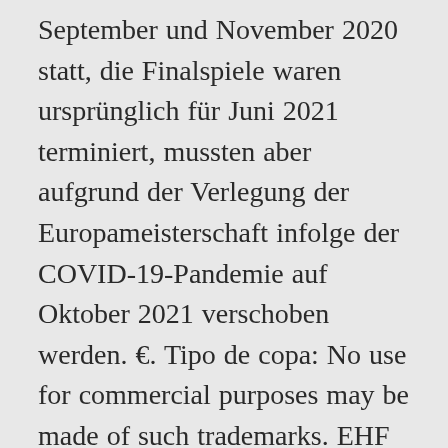September und November 2020 statt, die Finalspiele waren ursprünglich für Juni 2021 terminiert, mussten aber aufgrund der Verlegung der Europameisterschaft infolge der COVID-19-Pandemie auf Oktober 2021 verschoben werden. €. Tipo de copa: No use for commercial purposes may be made of such trademarks. EHF European League 16 teams, 9 nations, 7 former champions, and a lot of stars. Kylian Mbappé  180,00 mill. NFL Spielplan; NFL Teams; NFL Termine 2020; NFL Team Stats; NFL Player Stats; NFL Bildergalerien; Hard Knocks 2020; … Nations League D; U19 Europameisterschaft; Copa America; EM-Qualifikation; No te pierdas la última hora de esta competición.